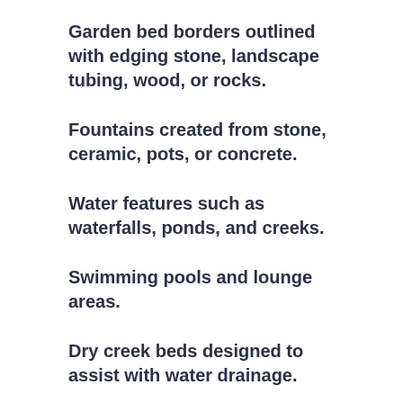Garden bed borders outlined with edging stone, landscape tubing, wood, or rocks.
Fountains created from stone, ceramic, pots, or concrete.
Water features such as waterfalls, ponds, and creeks.
Swimming pools and lounge areas.
Dry creek beds designed to assist with water drainage.
Because hardscape can cost more upfront,